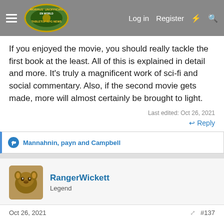Morrus' Unofficial Tabletop RPG News — Log in | Register
If you enjoyed the movie, you should really tackle the first book at the least. All of this is explained in detail and more. It's truly a magnificent work of sci-fi and social commentary. Also, if the second movie gets made, more will almost certainly be brought to light.
Last edited: Oct 26, 2021
↩ Reply
Mannahnin, payn and Campbell
RangerWickett
Legend
Oct 26, 2021
#137
The writing quality also dropped grossly. No one was clever.